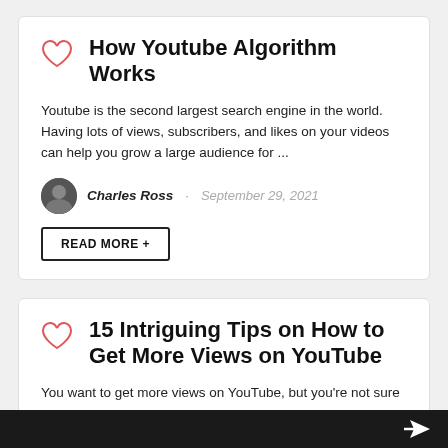How Youtube Algorithm Works
Youtube is the second largest search engine in the world. Having lots of views, subscribers, and likes on your videos can help you grow a large audience for ...
Charles Ross · September 29, 2021
READ MORE +
15 Intriguing Tips on How to Get More Views on YouTube
You want to get more views on YouTube, but you're not sure